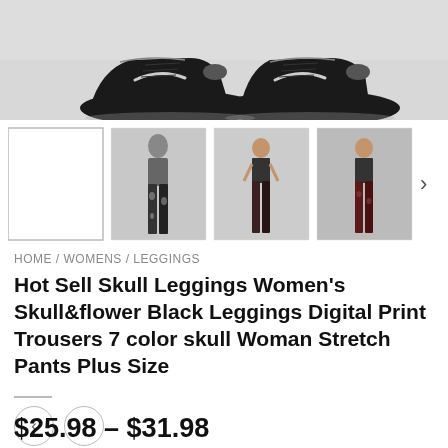[Figure (photo): Close-up of black Nike sneakers/shoes on a light gray background, seen from above, cropped at the top of the page]
[Figure (photo): Thumbnail image row showing: one blank/white placeholder thumbnail, a model wearing black skull & flower print leggings, a model wearing matching outfit full body, and a model wearing dark red skull print leggings. A right arrow navigation indicator on the far right.]
HOME / WOMENS / LEGGINGS
Hot Sell Skull Leggings Women's Skull&flower Black Leggings Digital Print Trousers 7 color skull Woman Stretch Pants Plus Size
[Figure (other): Two circular navigation buttons (left arrow and right arrow) for navigating product variants]
$25.98 – $31.98